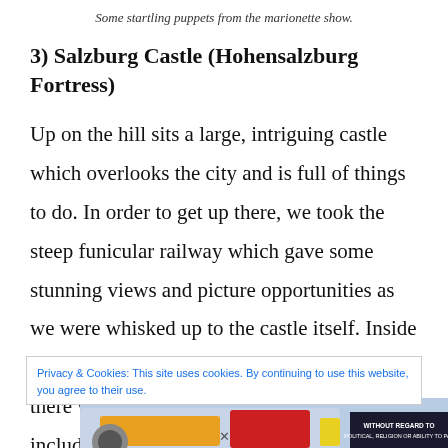Some startling puppets from the marionette show.
3) Salzburg Castle (Hohensalzburg Fortress)
Up on the hill sits a large, intriguing castle which overlooks the city and is full of things to do. In order to get up there, we took the steep funicular railway which gave some stunning views and picture opportunities as we were whisked up to the castle itself. Inside there was plenty to see of the old fortress and there were shops and refreshments that included places selling local
Privacy & Cookies: This site uses cookies. By continuing to use this website, you agree to their use.
[Figure (photo): Advertisement banner showing an airplane being loaded with cargo, with an overlay text reading 'WITHOUT REGARD TO POLITICAL RELIGION OR ABILITY TO PAY']